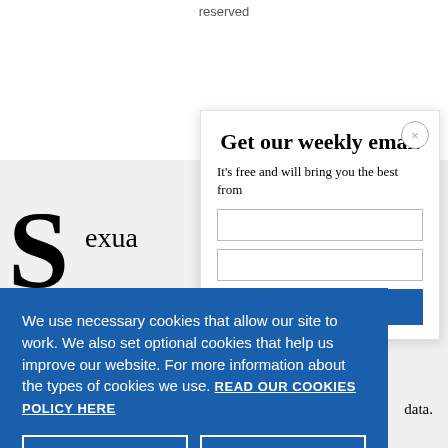reserved
S exua
[Figure (screenshot): Email newsletter signup modal with title 'Get our weekly email', subtitle 'It's free and will bring you the best from', a close button (×), and input fields]
We use necessary cookies that allow our site to work. We also set optional cookies that help us improve our website. For more information about the types of cookies we use. READ OUR COOKIES POLICY HERE
COOKIE SETTINGS
ALLOW ALL COOKIES
data.
A profin